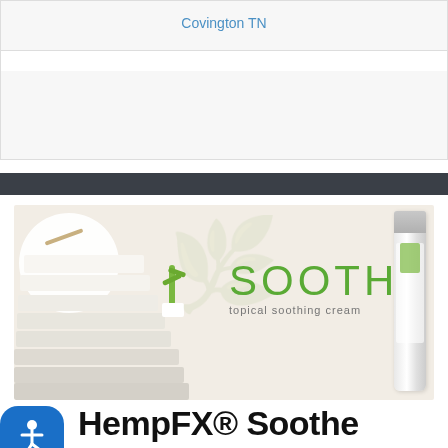Covington TN
[Figure (photo): Banner advertisement for SOOTHE topical soothing cream by HempFX, showing folded white towels on the left, green SOOTHE branding text in center, and a white product tube/bottle on the right]
HempFX® Soothe
[Figure (photo): Bottom of a white HempFX Soothe product container partially visible at bottom of page]